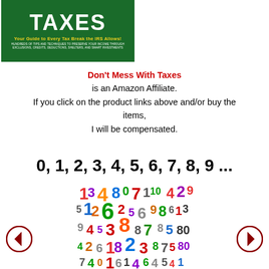[Figure (illustration): Book cover for a tax guide with green background. Shows 'TAXES' in large white bold letters, subtitle 'Your Guide to Every Tax Break the IRS Allows!' in yellow, and smaller text about tips and techniques.]
Don't Mess With Taxes is an Amazon Affiliate. If you click on the product links above and/or buy the items, I will be compensated.
0, 1, 2, 3, 4, 5, 6, 7, 8, 9 ...
[Figure (illustration): Colorful jumbled numbers (0-9) in various fonts, sizes, and colors arranged in a collage pattern.]
[Figure (illustration): Left navigation arrow in a dark red circle]
[Figure (illustration): Right navigation arrow in a dark red circle]